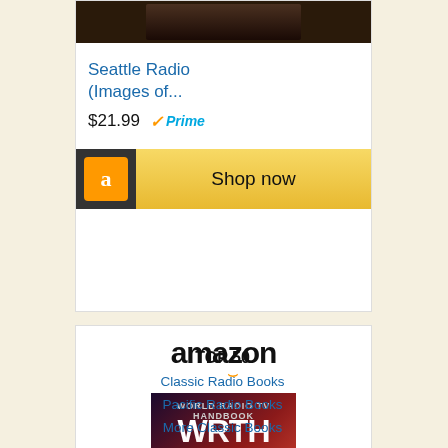[Figure (photo): Book cover image for Seattle Radio (Images of...) - dark colored book]
Seattle Radio (Images of...
$21.99  Prime
Shop now
[Figure (logo): Amazon logo with smile]
[Figure (photo): WRTH World Radio TV Handbook 2020 book cover with globe imagery]
World Radio TV Handbook...
$49.48
Shop now
TOP 50
Classic Radio Books
Pacific Radio Books
More Classic Books